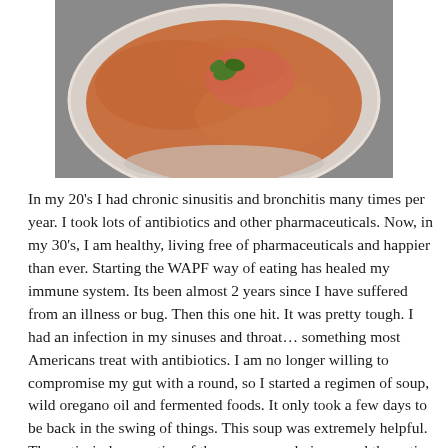[Figure (photo): A white bowl of reddish-brown soup (likely tomato or lentil) with a small sprig of green herb on top, photographed from above on a gray surface.]
In my 20's I had chronic sinusitis and bronchitis many times per year. I took lots of antibiotics and other pharmaceuticals. Now, in my 30's, I am healthy, living free of pharmaceuticals and happier than ever. Starting the WAPF way of eating has healed my immune system. Its been almost 2 years since I have suffered from an illness or bug. Then this one hit. It was pretty tough. I had an infection in my sinuses and throat... something most Americans treat with antibiotics. I am no longer willing to compromise my gut with a round, so I started a regimen of soup, wild oregano oil and fermented foods. It only took a few days to be back in the swing of things. This soup was extremely helpful. The anti-viral properties of the oregano and ginger and the anti-